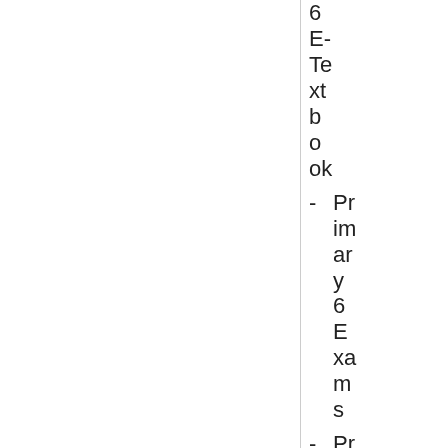6 E-Textbook
- Primary 6 Exams
- Primary 6 I...